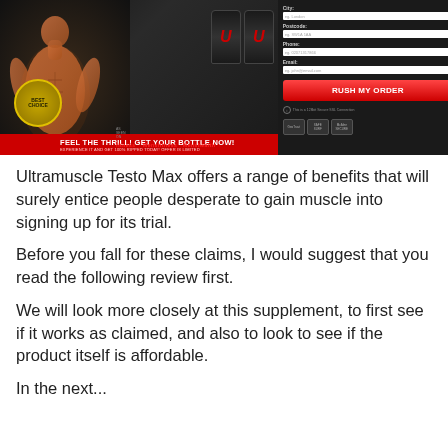[Figure (photo): Advertisement banner for Ultramuscle Testo Max supplement. Dark background with muscular man silhouette on left, two product bottles with red U logos in center, red banner reading 'FEEL THE THRILL! GET YOUR BOTTLE NOW!', Best Choice badge, and an order form on the right with City, Postcode, Phone, Email fields and a red 'Rush my Order' button, plus trust badges.]
Ultramuscle Testo Max offers a range of benefits that will surely entice people desperate to gain muscle into signing up for its trial.
Before you fall for these claims, I would suggest that you read the following review first.
We will look more closely at this supplement, to first see if it works as claimed, and also to look to see if the product itself is affordable.
In the next...